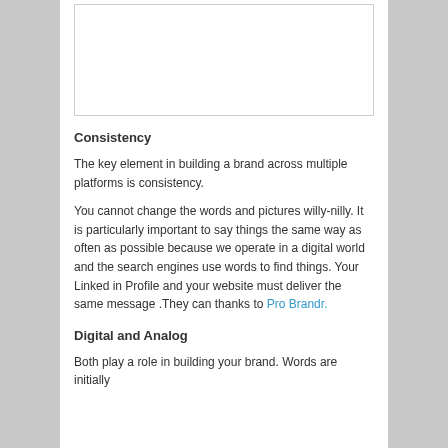[Figure (other): Empty white image placeholder box with border]
Consistency
The key element in building a brand across multiple platforms is consistency.
You cannot change the words and pictures willy-nilly. It is particularly important to say things the same way as often as possible because we operate in a digital world and the search engines use words to find things. Your Linked in Profile and your website must deliver the same message .They can thanks to Pro Brandr.
Digital and Analog
Both play a role in building your brand. Words are initially